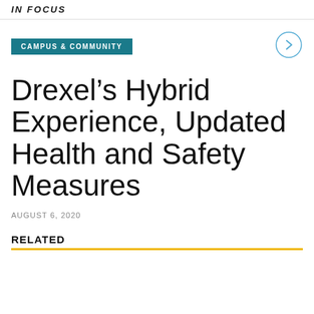IN FOCUS
CAMPUS & COMMUNITY
Drexel’s Hybrid Experience, Updated Health and Safety Measures
AUGUST 6, 2020
RELATED